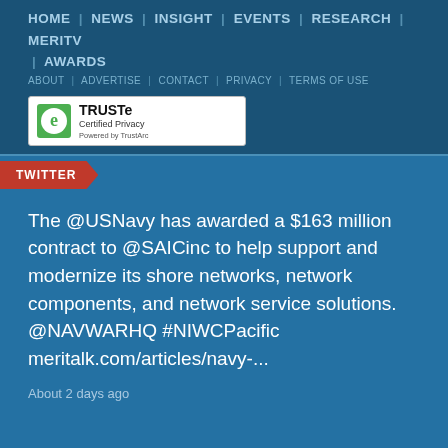HOME | NEWS | INSIGHT | EVENTS | RESEARCH | MERITV | AWARDS
ABOUT | ADVERTISE | CONTACT | PRIVACY | TERMS OF USE
[Figure (logo): TRUSTe Certified Privacy Powered by TrustArc badge]
TWITTER
The @USNavy has awarded a $163 million contract to @SAICinc to help support and modernize its shore networks, network components, and network service solutions. @NAVWARHQ #NIWCPacific meritalk.com/articles/navy-...
About 2 days ago
SUBSCRIBE